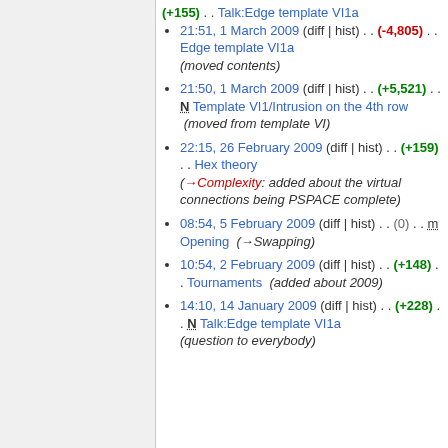(+155) . . Talk:Edge template VI1a
21:51, 1 March 2009 (diff | hist) . . (-4,805) . . Edge template VI1a (moved contents)
21:50, 1 March 2009 (diff | hist) . . (+5,521) . . N Template VI1/Intrusion on the 4th row (moved from template VI)
22:15, 26 February 2009 (diff | hist) . . (+159) . . Hex theory (→Complexity: added about the virtual connections being PSPACE complete)
08:54, 5 February 2009 (diff | hist) . . (0) . . m Opening (→Swapping)
10:54, 2 February 2009 (diff | hist) . . (+148) . . Tournaments (added about 2009)
14:10, 14 January 2009 (diff | hist) . . (+228) . . N Talk:Edge template VI1a (question to everybody)